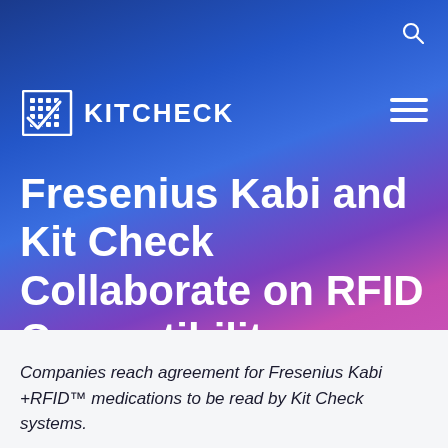[Figure (logo): Kit Check logo with grid/checkmark icon and KITCHECK wordmark in white on blue-purple gradient background, with search icon and hamburger menu]
Fresenius Kabi and Kit Check Collaborate on RFID Compatibility
Companies reach agreement for Fresenius Kabi +RFID™ medications to be read by Kit Check systems.